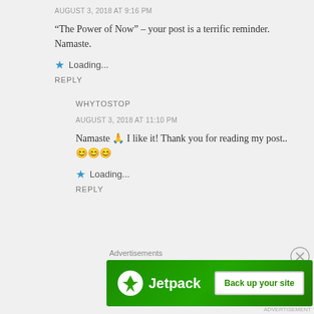AUGUST 3, 2018 AT 9:16 PM
“The Power of Now” – your post is a terrific reminder. Namaste.
★ Loading...
REPLY
WHYTOSTOP
AUGUST 3, 2018 AT 11:10 PM
Namaste 🙏 I like it! Thank you for reading my post..😊😊😊
★ Loading...
REPLY
Advertisements
[Figure (screenshot): Jetpack advertisement banner with green background, Jetpack logo on left and 'Back up your site' button on right]